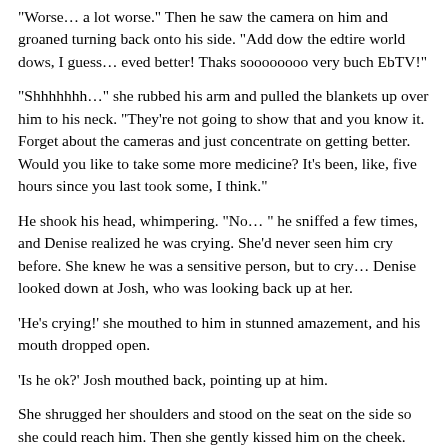"Worse… a lot worse." Then he saw the camera on him and groaned turning back onto his side. "Add dow the edtire world dows, I guess… eved better! Thaks soooooooo very buch EbTV!"
"Shhhhhhh…" she rubbed his arm and pulled the blankets up over him to his neck. "They're not going to show that and you know it. Forget about the cameras and just concentrate on getting better. Would you like to take some more medicine? It's been, like, five hours since you last took some, I think."
He shook his head, whimpering. "No… " he sniffed a few times, and Denise realized he was crying. She'd never seen him cry before. She knew he was a sensitive person, but to cry… Denise looked down at Josh, who was looking back up at her.
'He's crying!' she mouthed to him in stunned amazement, and his mouth dropped open.
'Is he ok?' Josh mouthed back, pointing up at him.
She shrugged her shoulders and stood on the seat on the side so she could reach him. Then she gently kissed him on the cheek. "Mick, honey, talk to me. Please?"
He shook his head. He sneezed three times and rubbed his nose after with his palm.